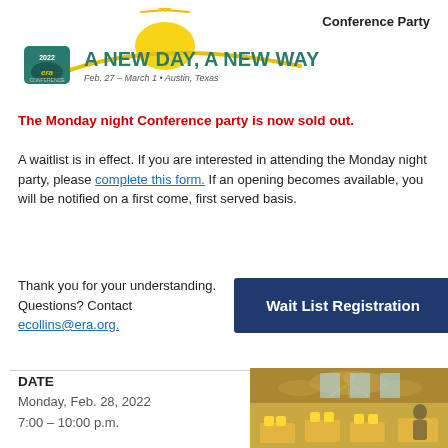Conference Party
[Figure (logo): ERA Conference 2022 logo — A New Day, A New Way, Feb. 27 – March 1, Austin, Texas with sun rays and ERA emblem]
The Monday night Conference party is now sold out.
A waitlist is in effect. If you are interested in attending the Monday night party, please complete this form. If an opening becomes available, you will be notified on a first come, first served basis.
Thank you for your understanding. Questions? Contact ecollins@era.org.
[Figure (other): Wait List Registration button (dark navy blue button with white bold text)]
DATE
Monday, Feb. 28, 2022
7:00 – 10:00 p.m.
[Figure (photo): Interior photo of an elegant venue/restaurant with warm lighting and yellow chairs]